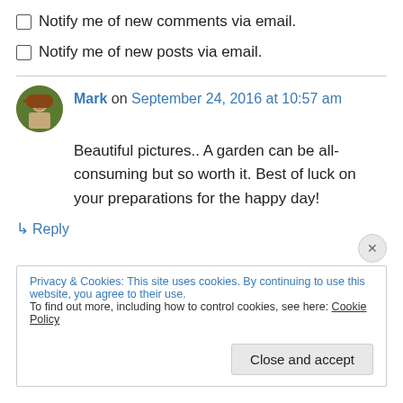Notify me of new comments via email.
Notify me of new posts via email.
Mark on September 24, 2016 at 10:57 am
Beautiful pictures.. A garden can be all-consuming but so worth it. Best of luck on your preparations for the happy day!
↳ Reply
Privacy & Cookies: This site uses cookies. By continuing to use this website, you agree to their use.
To find out more, including how to control cookies, see here: Cookie Policy
Close and accept